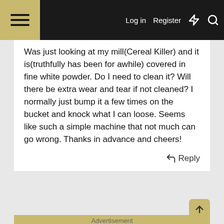Log in  Register
Was just looking at my mill(Cereal Killer) and it is(truthfully has been for awhile) covered in fine white powder. Do I need to clean it? Will there be extra wear and tear if not cleaned? I normally just bump it a few times on the bucket and knock what I can loose. Seems like such a simple machine that not much can go wrong. Thanks in advance and cheers!
Reply
Advertisement